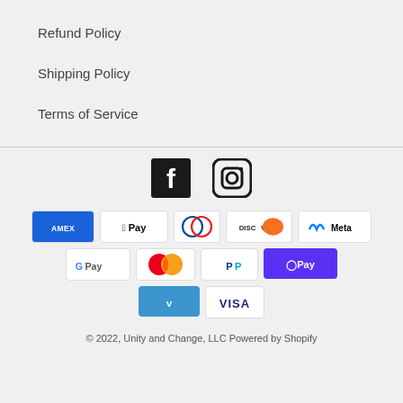Refund Policy
Shipping Policy
Terms of Service
[Figure (other): Facebook and Instagram social media icons]
[Figure (other): Payment method icons: American Express, Apple Pay, Diners Club, Discover, Meta Pay, Google Pay, Mastercard, PayPal, O Pay, Venmo, Visa]
© 2022, Unity and Change, LLC Powered by Shopify